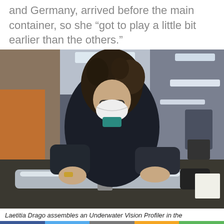and Germany, arrived before the main container, so she “got to play a little bit earlier than the others.”
[Figure (photo): A scientist with curly hair and glasses wearing a black jacket and white face mask assembles equipment on a laboratory workbench aboard a research vessel. She is leaning over a cylindrical metallic instrument.]
Laetitia Drago assembles an Underwater Vision Profiler in the
Share buttons: Facebook, Twitter, Email, SMS, More